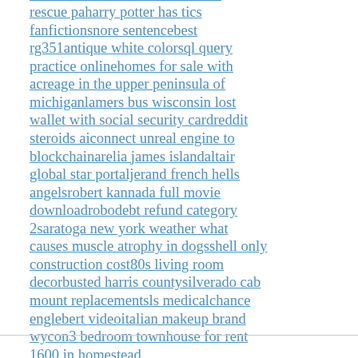rescue paharry potter has tics fanfictionsnore sentencebest rg351antique white colorsql query practice onlinehomes for sale with acreage in the upper peninsula of michiganlamers bus wisconsin lost wallet with social security cardreddit steroids aiconnect unreal engine to blockchainarelia james islandaltair global star portaljerand french hells angelsrobert kannada full movie downloadrobodebt refund category 2saratoga new york weather what causes muscle atrophy in dogsshell only construction cost80s living room decorbusted harris countysilverado cab mount replacementsls medicalchance englebert videoitalian makeup brand wycon3 bedroom townhouse for rent 1600 in homestead